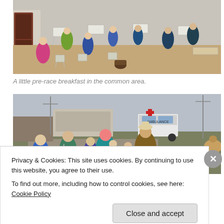[Figure (photo): Outdoor common area with people sitting at folding tables and chairs, eating breakfast before a race. Sandy ground, whitewashed building walls, overcast sky.]
A little pre-race breakfast in the common area.
[Figure (photo): Group of runners in race bibs running along a dirt road. An ambulance is visible in the background, along with stone walls, utility poles, and a horse on the right side. Overcast sky.]
Privacy & Cookies: This site uses cookies. By continuing to use this website, you agree to their use.
To find out more, including how to control cookies, see here: Cookie Policy
Close and accept